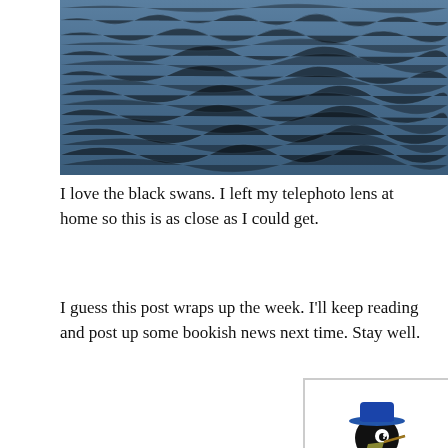[Figure (photo): Photograph of water surface with ripples, dark blue-grey color, taken from a distance]
I love the black swans. I left my telephoto lens at home so this is as close as I could get.
I guess this post wraps up the week. I'll keep reading and post up some bookish news next time. Stay well.
[Figure (illustration): Cartoon illustration of a penguin wearing a blue jacket, teal pants, a blue hat, holding something in its beak, with a gold chain and camera around its neck, standing upright]